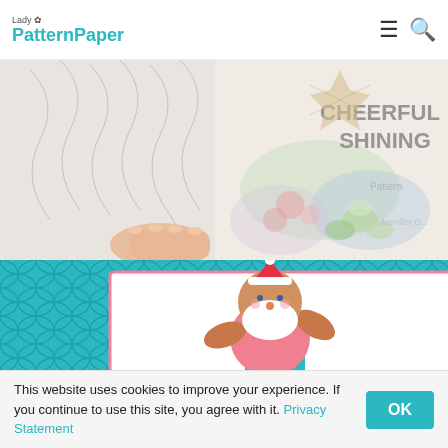Lady PatternPaper — navigation bar with logo, hamburger menu, and search icon
[Figure (photo): Close-up photo of crafting scrapbook pages being held by a hand. Left side shows grey marble/feather-patterned paper. Right side shows floral patterned paper with succulents and text 'CHEERFUL SHINING'. Lady PatternPaper watermark visible.]
[Figure (photo): Craft card on teal/turquoise mermaid-scale patterned background. Card features a colorful cartoon Santa Claus in beach attire (pink Hawaiian shirt, teal swim trunks) running. Background has pink lemonade/drink illustrations on white strip on the right. Card has pink border.]
This website uses cookies to improve your experience. If you continue to use this site, you agree with it. Privacy Statement
OK